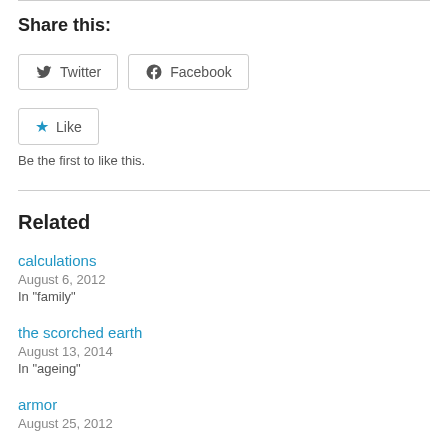Share this:
[Figure (screenshot): Twitter and Facebook share buttons, followed by a Like button with star icon]
Be the first to like this.
Related
calculations
August 6, 2012
In "family"
the scorched earth
August 13, 2014
In "ageing"
armor
August 25, 2012